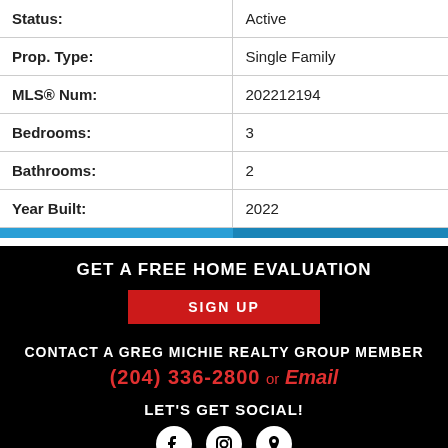| Property Field | Value |
| --- | --- |
| Status: | Active |
| Prop. Type: | Single Family |
| MLS® Num: | 202212194 |
| Bedrooms: | 3 |
| Bathrooms: | 2 |
| Year Built: | 2022 |
GET A FREE HOME EVALUATION
SIGN UP
CONTACT A GREG MICHIE REALTY GROUP MEMBER
(204) 336-2800 or Email
LET'S GET SOCIAL!
[Figure (illustration): Three social media icons: Facebook, Instagram, and location pin, displayed as white circles on black background]